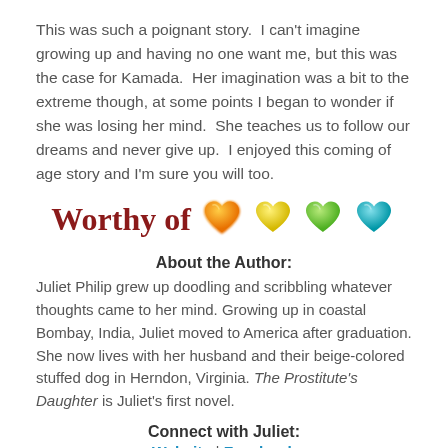This was such a poignant story.  I can't imagine growing up and having no one want me, but this was the case for Kamada.  Her imagination was a bit to the extreme though, at some points I began to wonder if she was losing her mind.  She teaches us to follow our dreams and never give up.  I enjoyed this coming of age story and I'm sure you will too.
[Figure (illustration): Handwritten cursive text 'Worthy of' in dark red followed by four colorful heart emojis in orange, yellow, green, and blue]
About the Author:
Juliet Philip grew up doodling and scribbling whatever thoughts came to her mind. Growing up in coastal Bombay, India, Juliet moved to America after graduation. She now lives with her husband and their beige-colored stuffed dog in Herndon, Virginia. The Prostitute's Daughter is Juliet's first novel.
Connect with Juliet:
Website | Facebook